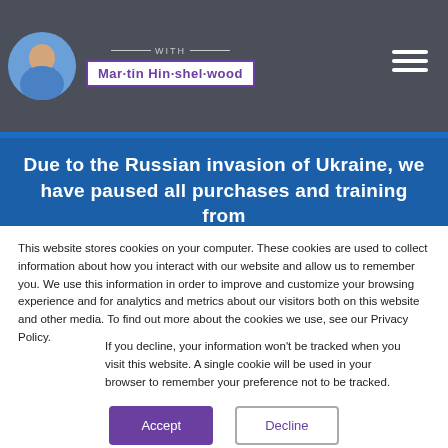[Figure (photo): Circular avatar photo of Martin Hinshelwood wearing blue shirt, with 'WITH' text and name box showing 'Mar·tin Hin·shel·wood' on dark grey header background with hamburger menu icon]
Due to the Russian invasion of Ukraine, we have paused all purchases and training from
This website stores cookies on your computer. These cookies are used to collect information about how you interact with our website and allow us to remember you. We use this information in order to improve and customize your browsing experience and for analytics and metrics about our visitors both on this website and other media. To find out more about the cookies we use, see our Privacy Policy.
If you decline, your information won't be tracked when you visit this website. A single cookie will be used in your browser to remember your preference not to be tracked.